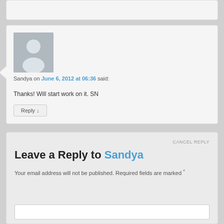[Figure (illustration): Partial top of a comment box, cut off at top of page]
Sandya on June 6, 2012 at 06:36 said:
Thanks! Will start work on it. SN
Reply ↓
CANCEL REPLY
Leave a Reply to Sandya
Your email address will not be published. Required fields are marked *